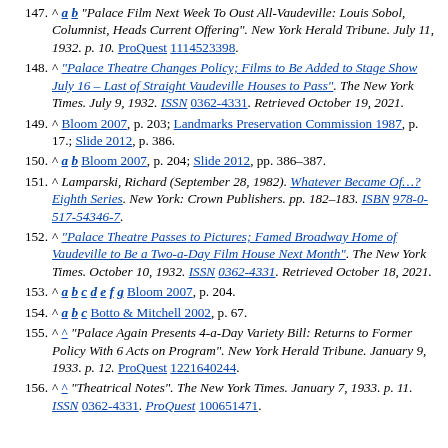147. ^ a b "Palace Film Next Week To Oust All-Vaudeville: Louis Sobol, Columnist, Heads Current Offering". New York Herald Tribune. July 11, 1932. p. 10. ProQuest 1114523398.
148. ^ "Palace Theatre Changes Policy; Films to Be Added to Stage Show July 16 – Last of Straight Vaudeville Houses to Pass". The New York Times. July 9, 1932. ISSN 0362-4331. Retrieved October 19, 2021.
149. ^ Bloom 2007, p. 203; Landmarks Preservation Commission 1987, p. 17.; Slide 2012, p. 386.
150. ^ a b Bloom 2007, p. 204; Slide 2012, pp. 386–387.
151. ^ Lamparski, Richard (September 28, 1982). Whatever Became Of...? Eighth Series. New York: Crown Publishers. pp. 182–183. ISBN 978-0-517-54346-7.
152. ^ "Palace Theatre Passes to Pictures; Famed Broadway Home of Vaudeville to Be a Two-a-Day Film House Next Month". The New York Times. October 10, 1932. ISSN 0362-4331. Retrieved October 18, 2021.
153. ^ a b c d e f g Bloom 2007, p. 204.
154. ^ a b c Botto & Mitchell 2002, p. 67.
155. ^ "Palace Again Presents 4-a-Day Variety Bill: Returns to Former Policy With 6 Acts on Program". New York Herald Tribune. January 9, 1933. p. 12. ProQuest 1221640244.
156. ^ "Theatrical Notes". The New York Times. January 7, 1933. p. 11. ISSN 0362-4331. ProQuest 100651471.